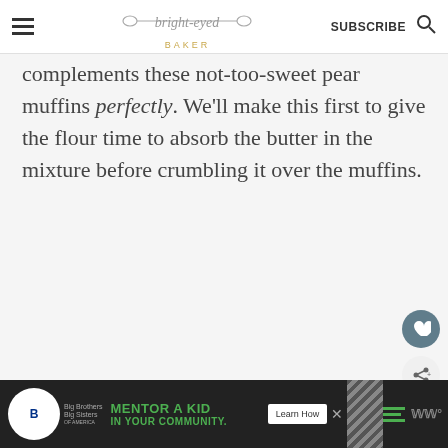bright-eyed BAKER | SUBSCRIBE
complements these not-too-sweet pear muffins perfectly. We'll make this first to give the flour time to absorb the butter in the mixture before crumbling it over the muffins.
[Figure (screenshot): Big Brothers Big Sisters advertisement: MENTOR A KID IN YOUR COMMUNITY. Learn How button.]